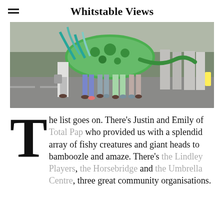Whitstable Views
[Figure (photo): Street parade photo showing people carrying a large green dragon/sea creature costume along a road, with spectators watching on the right side.]
The list goes on. There's Justin and Emily of Total Pap who provided us with a splendid array of fishy creatures and giant heads to bamboozle and amaze. There's the Lindley Players, the Horsebridge and the Umbrella Centre, three great community organisations.